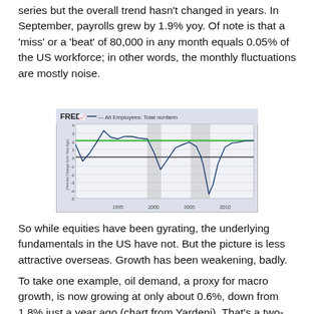series but the overall trend hasn't changed in years. In September, payrolls grew by 1.9% yoy. Of note is that a 'miss' or a 'beat' of 80,000 in any month equals 0.05% of the US workforce; in other words, the monthly fluctuations are mostly noise.
[Figure (continuous-plot): FRED line chart showing All Employees: Total nonfarm, percent change from year ago, from approximately 1990 to 2015. The line shows cycles including peaks around 1994 (~3%), dips in 2001-2002 recession, recovery to about 2% by 2005-2006, then a sharp drop to about -5% during the 2008-2009 recession, followed by recovery to near 2% by 2015. A horizontal green line is drawn at approximately 2% and a black line at 0%.]
So while equities have been gyrating, the underlying fundamentals in the US have not. But the picture is less attractive overseas. Growth has been weakening, badly.
To take one example, oil demand, a proxy for macro growth, is now growing at only about 0.6%, down from 1.8% just a year ago (chart from Yardeni). That's a two-thirds drop in the